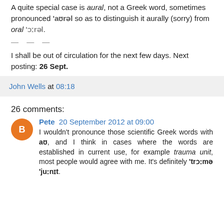A quite special case is aural, not a Greek word, sometimes pronounced 'aʊrəl so as to distinguish it aurally (sorry) from oral 'ɔːrəl.
— — —
I shall be out of circulation for the next few days. Next posting: 26 Sept.
John Wells at 08:18
26 comments:
Pete 20 September 2012 at 09:00
I wouldn't pronounce those scientific Greek words with aʊ, and I think in cases where the words are established in current use, for example trauma unit, most people would agree with me. It's definitely 'trɔːmə 'juːnɪt.